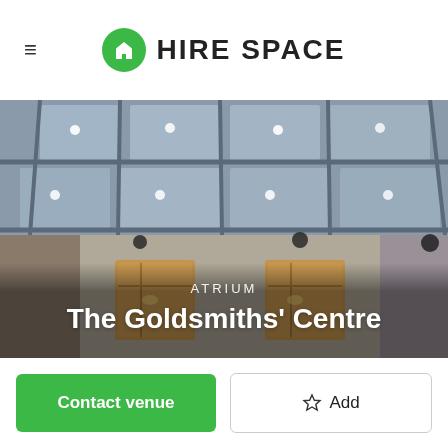HIRE SPACE
[Figure (photo): Interior atrium of The Goldsmiths' Centre showing a glass roof ceiling with track lighting, brick walls, and wooden doors below. Text overlay reads 'ATRIUM' and 'The Goldsmiths' Centre'.]
The Goldsmiths' Centre
Contact venue
☆ Add